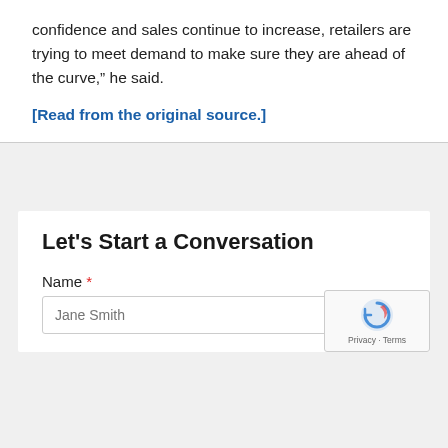confidence and sales continue to increase, retailers are trying to meet demand to make sure they are ahead of the curve,” he said.
[Read from the original source.]
Let's Start a Conversation
Name *
Jane Smith